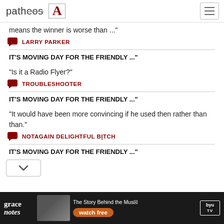patheos | A
means the winner is worse than ..."
LARRY PARKER
IT'S MOVING DAY FOR THE FRIENDLY ..."
"Is it a Radio Flyer?"
TROUBLESHOOTER
IT'S MOVING DAY FOR THE FRIENDLY ..."
"It would have been more convincing if he used then rather than than."
NOTAGAIN DELIGHTFUL BITCH
IT'S MOVING DAY FOR THE FRIENDLY ..."
[Figure (screenshot): Advertisement banner for Grace Notes on BYU TV with tagline 'The Story Behind the Music' and 'watch free' button]